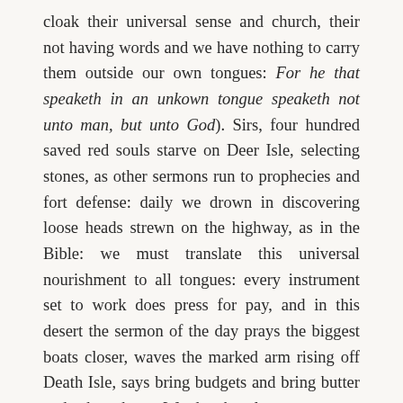cloak their universal sense and church, their not having words and we have nothing to carry them outside our own tongues: For he that speaketh in an unkown tongue speaketh not unto man, but unto God). Sirs, four hundred saved red souls starve on Deer Isle, selecting stones, as other sermons run to prophecies and fort defense: daily we drown in discovering loose heads strewn on the highway, as in the Bible: we must translate this universal nourishment to all tongues: every instrument set to work does press for pay, and in this desert the sermon of the day prays the biggest boats closer, waves the marked arm rising off Death Isle, says bring budgets and bring butter and that best Word: the least generous omniscience of our own utter limit unto death (or coming into sight) of those yet tasting what charity and what, already, we are capable of having done. What? came the word of